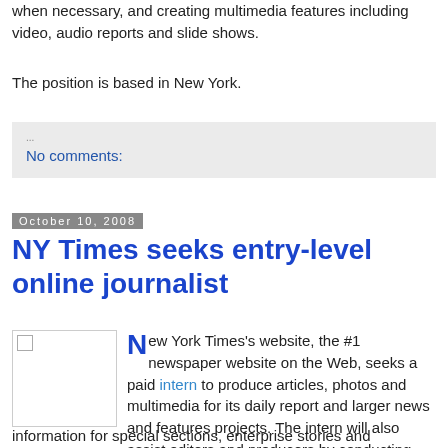when necessary, and creating multimedia features including video, audio reports and slide shows.
The position is based in New York.
No comments:
October 10, 2008
NY Times seeks entry-level online journalist
[Figure (photo): Small placeholder image with broken image icon]
New York Times's website, the #1 newspaper website on the Web, seeks a paid intern to produce articles, photos and multimedia for its daily report and larger news and features projects. The intern will also assist editors and producers by conducting research and compiling information for special sections, enterprise stories and breaking news events.